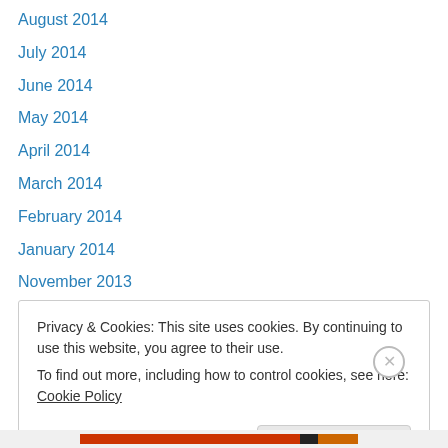August 2014
July 2014
June 2014
May 2014
April 2014
March 2014
February 2014
January 2014
November 2013
October 2013
September 2013
August 2013
July 2013
Privacy & Cookies: This site uses cookies. By continuing to use this website, you agree to their use.
To find out more, including how to control cookies, see here: Cookie Policy